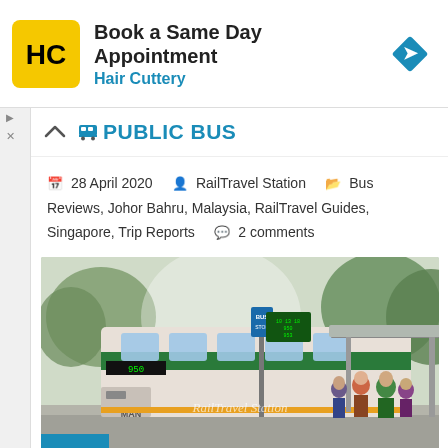[Figure (infographic): Hair Cuttery advertisement banner: yellow square logo with HC letters, bold text 'Book a Same Day Appointment', blue subtitle 'Hair Cuttery', and a blue diamond navigation icon on the right.]
PUBLIC BUS
28 April 2020   RailTravel Station   Bus Reviews, Johor Bahru, Malaysia, RailTravel Guides, Singapore, Trip Reports   2 comments
[Figure (photo): Photo of a public bus at a bus stop in Singapore. A MAN articulated bus is visible with passengers queuing under a sheltered bus stop. A bus stop sign pole is visible in the foreground. Trees line the background.]